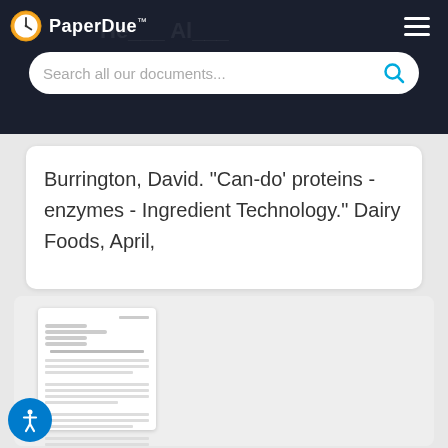PaperDue™
Search all our documents...
Burrington, David. "Can-do' proteins - enzymes - Ingredient Technology." Dairy Foods, April,
[Figure (screenshot): Thumbnail preview of a document page with lines of text]